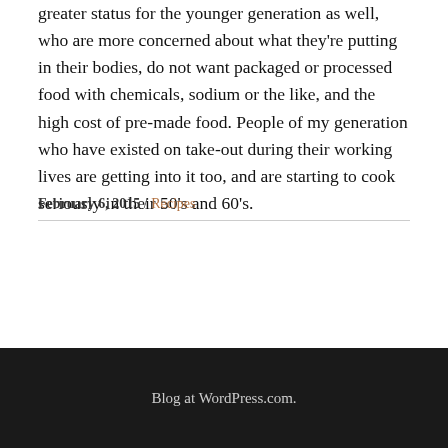greater status for the younger generation as well, who are more concerned about what they're putting in their bodies, do not want packaged or processed food with chemicals, sodium or the like, and the high cost of pre-made food. People of my generation who have existed on take-out during their working lives are getting into it too, and are starting to cook seriously in their 50's and 60's.
February 6, 2015 / Recipes
Blog at WordPress.com.